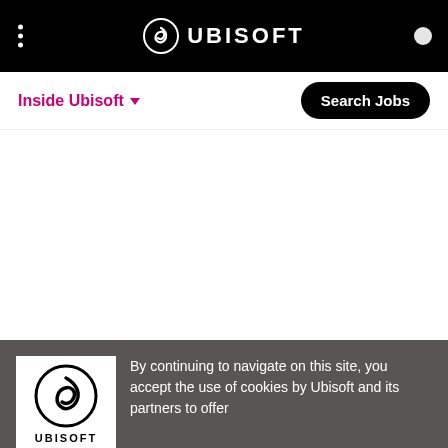UBISOFT navigation bar
Inside Ubisoft
Search Jobs
By continuing to navigate on this site, you accept the use of cookies by Ubisoft and its partners to offer advertising adapted to your interests, collect visit statistics and allow you to use the social network share buttons. To learn more and set your cookies. ok